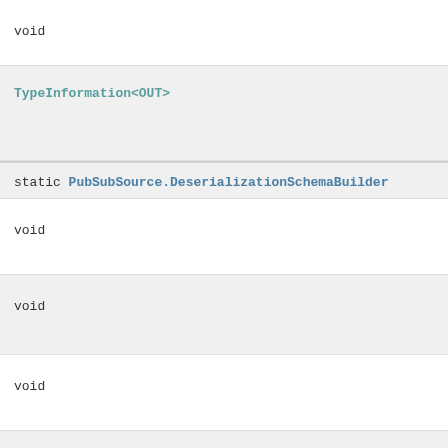void
TypeInformation<OUT>
static PubSubSource.DeserializationSchemaBuilder
void
void
void
void